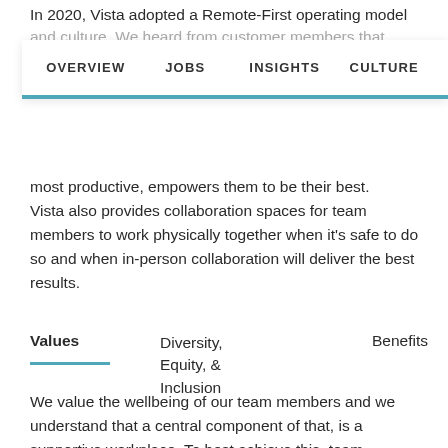In 2020, Vista adopted a Remote-First operating model and culture. We heard from customer members that
[Figure (screenshot): Navigation bar with four items: OVERVIEW, JOBS, INSIGHTS, CULTURE, with a teal/blue accent bar along the bottom right portion]
most productive, empowers them to be their best. Vista also provides collaboration spaces for team members to work physically together when it's safe to do so and when in-person collaboration will deliver the best results.
Values	Diversity, Equity, & Inclusion	Benefits
We value the wellbeing of our team members and we understand that a central component of that, is a supportive workplace. To best achieve this, team members